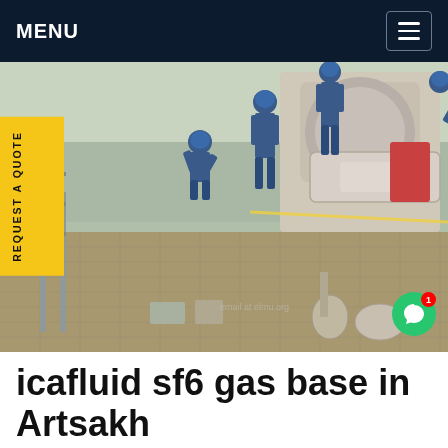MENU
[Figure (photo): Workers in blue uniforms and hard hats working on industrial SF6 gas equipment at an outdoor substation or power plant facility. Multiple workers are shown operating large cylindrical gas equipment on a grated platform.]
icafluid sf6 gas base in Artsakh
50hz SF6-Air Storage Systems pricingAlthough other arc quenching methods have been developed, sulfur